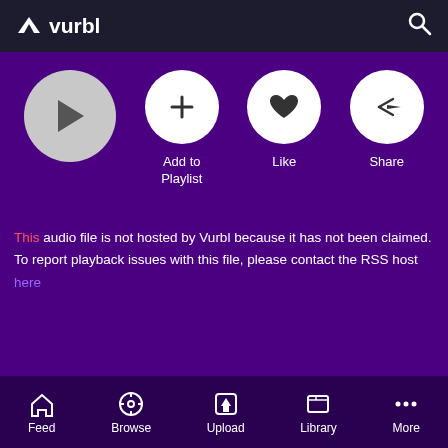vurbl
[Figure (screenshot): Purple media player area with play button (large gray circle with triangle), and three white circle buttons: Add to Playlist (+), Like (heart), Share (arrow). Labels below each button.]
This audio file is not hosted by Vurbl because it has not been claimed. To report playback issues with this file, please contact the RSS host here
129 Listens
Today's word of the day is '2703' as in not the amount of cookies I ate yesterday or the percentage of me
Feed  Browse  Upload  Library  More